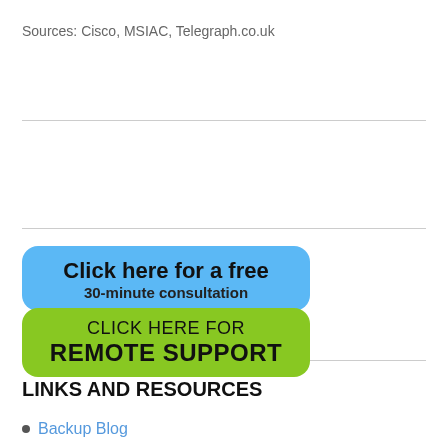Sources: Cisco, MSIAC, Telegraph.co.uk
[Figure (other): Blue rounded button: 'Click here for a free 30-minute consultation']
[Figure (other): Green rounded button: 'CLICK HERE FOR REMOTE SUPPORT']
LINKS AND RESOURCES
Backup Blog